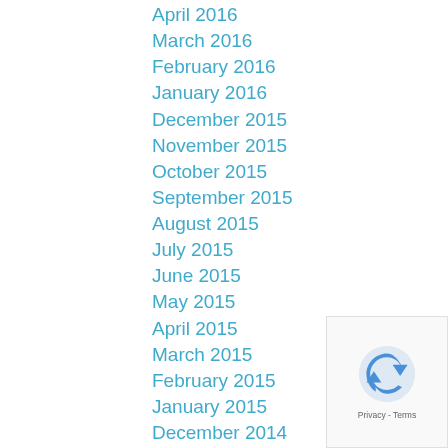April 2016
March 2016
February 2016
January 2016
December 2015
November 2015
October 2015
September 2015
August 2015
July 2015
June 2015
May 2015
April 2015
March 2015
February 2015
January 2015
December 2014
November 2014
October 2014
September 2014
August 2014
July 2014
June 2014
[Figure (logo): reCAPTCHA badge with Privacy - Terms text]